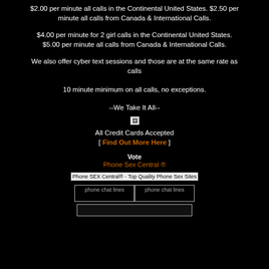$2.00 per minute all calls in the Continental United States. $2.50 per minute all calls from Canada & International Calls.
$4.00 per minute for 2 girl calls in the Continental United States. $5.00 per minute all calls from Canada & International Calls.
We also offer cyber text sessions and those are at the same rate as calls
10 minute minimum on all calls, no exceptions.
--We Take It All--
[Figure (photo): Broken image placeholder (credit card graphic)]
All Credit Cards Accepted
[ Find Out More Here ]
Vote
Phone Sex Central ®
[Figure (photo): Broken image for Phone SEX Central® - Top Quality Phone Sex Sites]
[Figure (photo): Two broken images labeled 'phone chat lines']
[Figure (photo): Bottom bar/image placeholder]